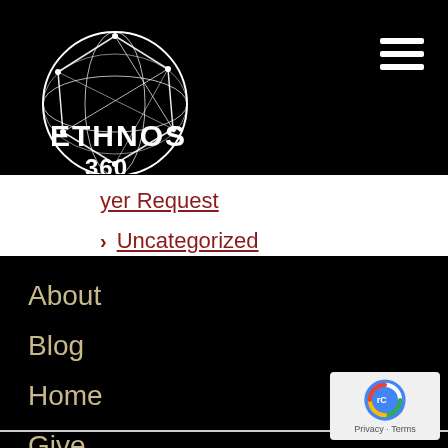[Figure (logo): Ethnos360 logo: white globe with geometric constellation lines, with text ETHNOS 360 below]
Prayer Request
Uncategorized
About
Blog
Home
Give